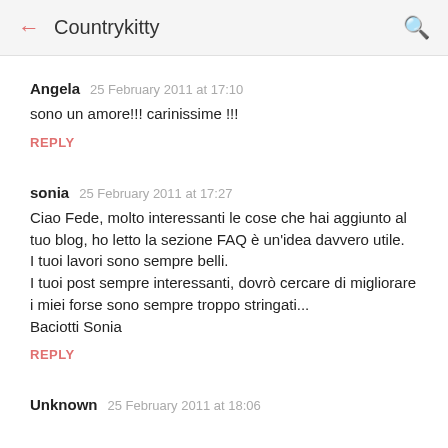← Countrykitty 🔍
Angela  25 February 2011 at 17:10
sono un amore!!! carinissime !!!
REPLY
sonia  25 February 2011 at 17:27
Ciao Fede, molto interessanti le cose che hai aggiunto al tuo blog, ho letto la sezione FAQ è un'idea davvero utile.
I tuoi lavori sono sempre belli.
I tuoi post sempre interessanti, dovrò cercare di migliorare i miei forse sono sempre troppo stringati...
Baciotti Sonia
REPLY
Unknown  25 February 2011 at 18:06